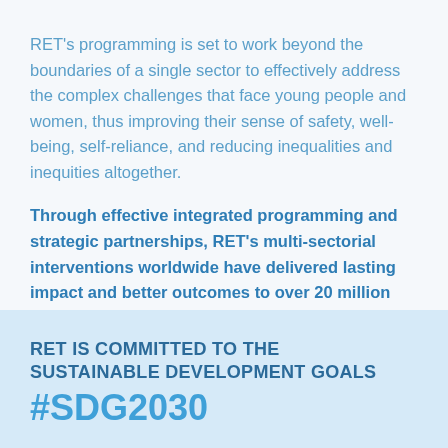RET's programming is set to work beyond the boundaries of a single sector to effectively address the complex challenges that face young people and women, thus improving their sense of safety, well-being, self-reliance, and reducing inequalities and inequities altogether.
Through effective integrated programming and strategic partnerships, RET's multi-sectorial interventions worldwide have delivered lasting impact and better outcomes to over 20 million people (indirectly), of which 50% are women and young girls.
RET IS COMMITTED TO THE SUSTAINABLE DEVELOPMENT GOALS #SDG2030